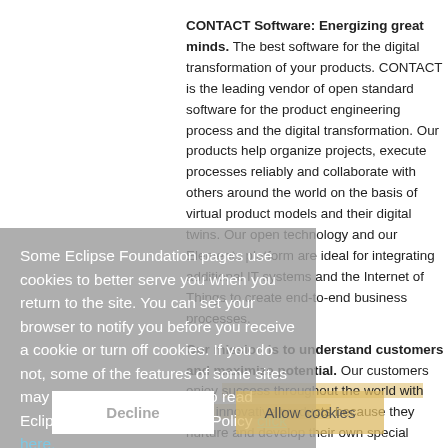CONTACT Software: Energizing great minds. The best software for the digital transformation of your products. CONTACT is the leading vendor of open standard software for the product engineering process and the digital transformation. Our products help organize projects, execute processes reliably and collaborate with others around the world on the basis of virtual product models and their digital twins. Our open technology and our Elements platform are ideal for integrating additional IT systems and the Internet of Things to create end-to-end business processes.
Our mission is to understand customers and maximize potential. Our customers enjoy success throughout the world with their innovative products because they nurture and develop their own special skills. We help them to maximize their potential through the use of best practices and
Some Eclipse Foundation pages use cookies to better serve you when you return to the site. You can set your browser to notify you before you receive a cookie or turn off cookies. If you do not, some of the features of some sites may not function properly. To read Eclipse Foundation Privacy Policy click here.